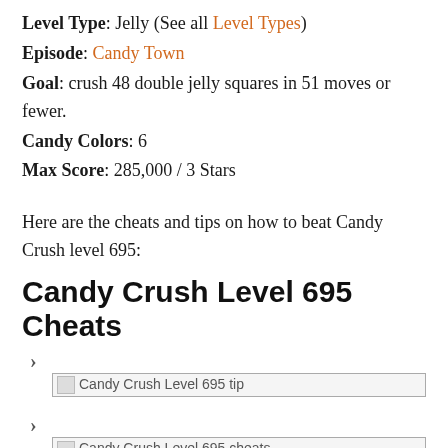Level Type: Jelly (See all Level Types)
Episode: Candy Town
Goal: crush 48 double jelly squares in 51 moves or fewer.
Candy Colors: 6
Max Score: 285,000 / 3 Stars
Here are the cheats and tips on how to beat Candy Crush level 695:
Candy Crush Level 695 Cheats
› [Candy Crush Level 695 tip image]
› [Candy Crush Level 695 cheats image]